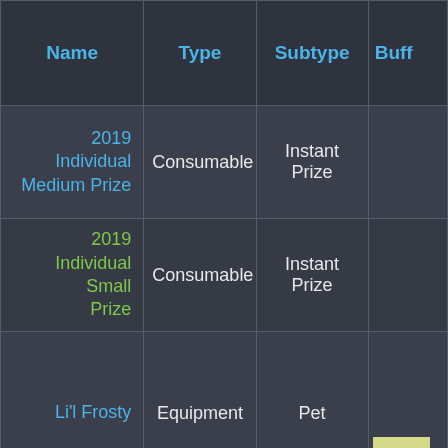| Name | Type | Subtype | Buff |
| --- | --- | --- | --- |
| 2019 Individual Medium Prize | Consumable | Instant Prize |  |
| 2019 Individual Small Prize | Consumable | Instant Prize |  |
| Li'l Frosty | Equipment | Pet | [bar] |
| 2022 Class B Armor MKII | Equipment | Body | +10[bar] |